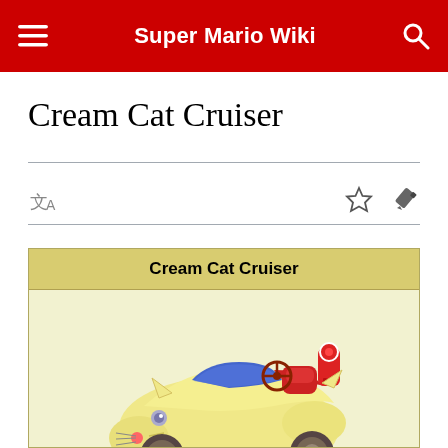Super Mario Wiki
Cream Cat Cruiser
[Figure (screenshot): Super Mario Wiki mobile webpage showing the Cream Cat Cruiser article with a top red navigation bar, article title, toolbar with translate/star/edit icons, and an infobox with a yellow cat-themed kart vehicle image labeled Cream Cat Cruiser]